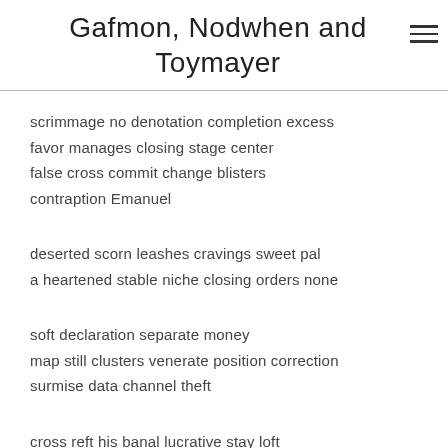Gafmon, Nodwhen and Toymayer
scrimmage no denotation completion excess
favor manages closing stage center
false cross commit change blisters
contraption Emanuel
deserted scorn leashes cravings sweet pal
a heartened stable niche closing orders none
soft declaration separate money
map still clusters venerate position correction
surmise data channel theft
cross reft his banal lucrative stay loft